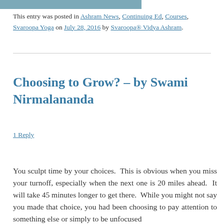[Figure (photo): Partial image strip visible at top of page, appears to be a landscape/nature photo cropped at the bottom edge.]
This entry was posted in Ashram News, Continuing Ed, Courses, Svaroopa Yoga on July 28, 2016 by Svaroopa® Vidya Ashram.
Choosing to Grow? – by Swami Nirmalananda
1 Reply
You sculpt time by your choices.  This is obvious when you miss your turnoff, especially when the next one is 20 miles ahead.  It will take 45 minutes longer to get there.  While you might not say you made that choice, you had been choosing to pay attention to something else or simply to be unfocused